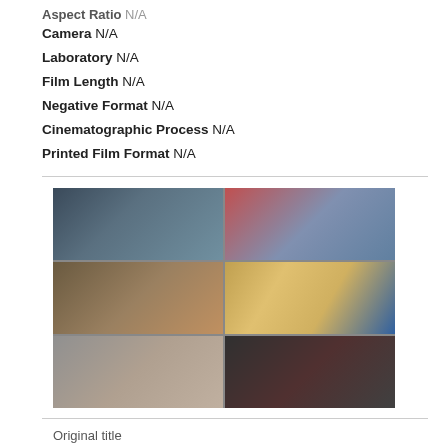Aspect Ratio N/A
Camera N/A
Laboratory N/A
Film Length N/A
Negative Format N/A
Cinematographic Process N/A
Printed Film Format N/A
[Figure (photo): Grid of 6 film still thumbnails arranged in 2 columns and 3 rows]
Original title